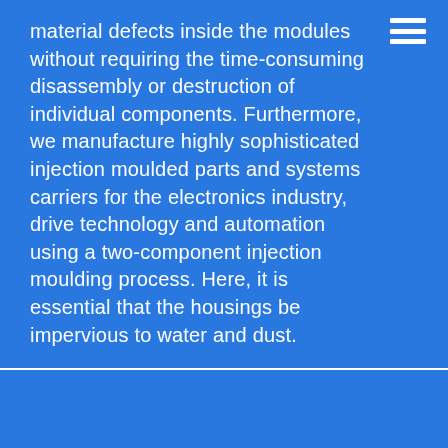material defects inside the modules without requiring the time-consuming disassembly or destruction of individual components. Furthermore, we manufacture highly sophisticated injection moulded parts and systems carriers for the electronics industry, drive technology and automation using a two-component injection moulding process. Here, it is essential that the housings be impervious to water and dust.